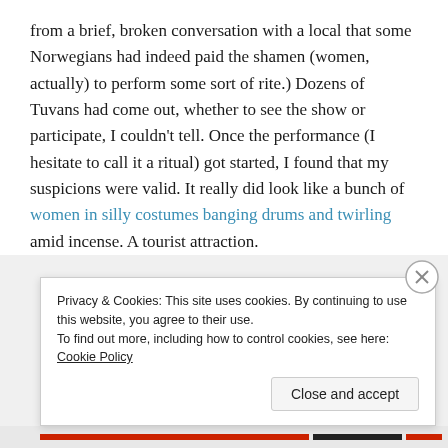from a brief, broken conversation with a local that some Norwegians had indeed paid the shamen (women, actually) to perform some sort of rite.) Dozens of Tuvans had come out, whether to see the show or participate, I couldn't tell. Once the performance (I hesitate to call it a ritual) got started, I found that my suspicions were valid. It really did look like a bunch of women in silly costumes banging drums and twirling amid incense. A tourist attraction.
Privacy & Cookies: This site uses cookies. By continuing to use this website, you agree to their use.
To find out more, including how to control cookies, see here: Cookie Policy
Close and accept